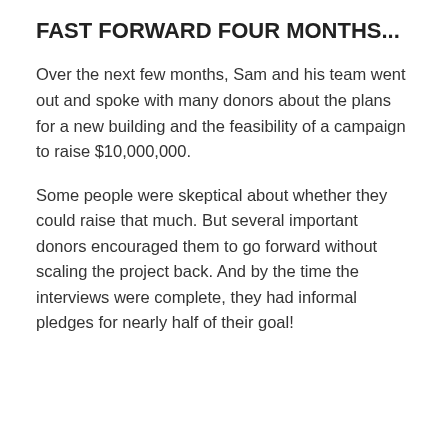FAST FORWARD FOUR MONTHS...
Over the next few months, Sam and his team went out and spoke with many donors about the plans for a new building and the feasibility of a campaign to raise $10,000,000.
Some people were skeptical about whether they could raise that much. But several important donors encouraged them to go forward without scaling the project back. And by the time the interviews were complete, they had informal pledges for nearly half of their goal!